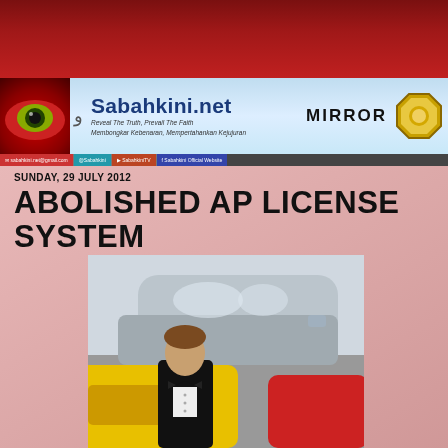[Figure (illustration): Red background top section of a blog/news website with a header banner]
Sabahkini.net — Reveal The Truth, Prevail The Faith / Membongkar Kebenaran, Mempertahankan Kejujuran — MIRROR
SUNDAY, 29 JULY 2012
ABOLISHED AP LICENSE SYSTEM
[Figure (photo): A young man in a black tuxedo and bow tie standing in front of multiple colorful cars including silver, yellow, and red automobiles]